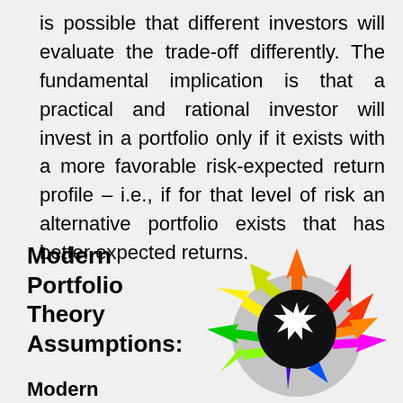is possible that different investors will evaluate the trade-off differently. The fundamental implication is that a practical and rational investor will invest in a portfolio only if it exists with a more favorable risk-expected return profile – i.e., if for that level of risk an alternative portfolio exists that has better expected returns.
Modern Portfolio Theory Assumptions:
Modern
[Figure (illustration): A colorful starburst of arrows pointing outward in many directions (yellow, orange, green, red, magenta, blue, etc.) radiating from a central black circle with a white starburst center, representing diversification in Modern Portfolio Theory.]